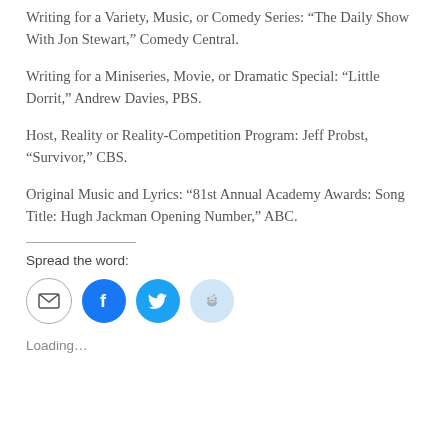Writing for a Variety, Music, or Comedy Series: “The Daily Show With Jon Stewart,” Comedy Central.
Writing for a Miniseries, Movie, or Dramatic Special: “Little Dorrit,” Andrew Davies, PBS.
Host, Reality or Reality-Competition Program: Jeff Probst, “Survivor,” CBS.
Original Music and Lyrics: “81st Annual Academy Awards: Song Title: Hugh Jackman Opening Number,” ABC.
Spread the word:
[Figure (infographic): Row of four social share icon buttons: email (grey circle), Facebook (blue circle with f), Twitter (blue circle with bird), Reddit (light blue circle with alien logo)]
Loading…